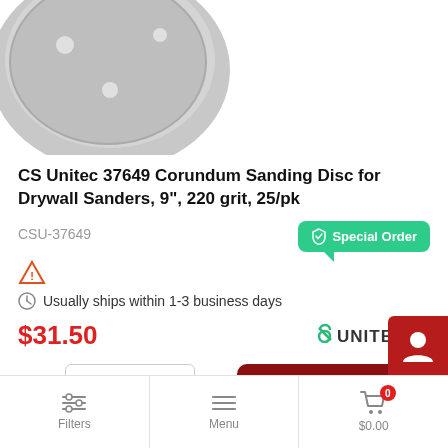[Figure (photo): Partial view of a gray corundum sanding disc with holes, shown from above on a white background]
CS Unitec 37649 Corundum Sanding Disc for Drywall Sanders, 9", 220 grit, 25/pk
CSU-37649
Special Order
Usually ships within 1-3 business days
$31.50
[Figure (logo): CS Unitec logo with stylized S and UNITEC text]
QTY: 1 PK
Buy Now
Filters   Menu   $0.00